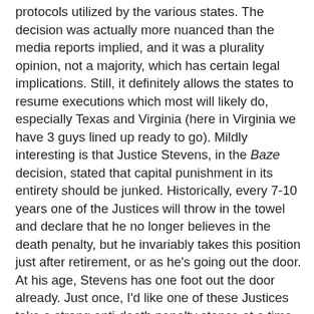protocols utilized by the various states. The decision was actually more nuanced than the media reports implied, and it was a plurality opinion, not a majority, which has certain legal implications. Still, it definitely allows the states to resume executions which most will likely do, especially Texas and Virginia (here in Virginia we have 3 guys lined up ready to go). Mildly interesting is that Justice Stevens, in the Baze decision, stated that capital punishment in its entirety should be junked. Historically, every 7-10 years one of the Justices will throw in the towel and declare that he no longer believes in the death penalty, but he invariably takes this position just after retirement, or as he's going out the door. At his age, Stevens has one foot out the door already. Just once, I'd like one of these Justices take a strong anti-death penalty stance at a time when it counts. Anyway, reading this Baze decision is disconcerting and depressing when you realize that what are supposed to be the nation's finest legal minds are arguing over the best way to kill people ... I don't recall if I told you that one of my short stories (an older one which I submitted on a whim) won third place in the 2008 PEN American Prison Writing Contest. I have not written any new fiction in several years, having gotten